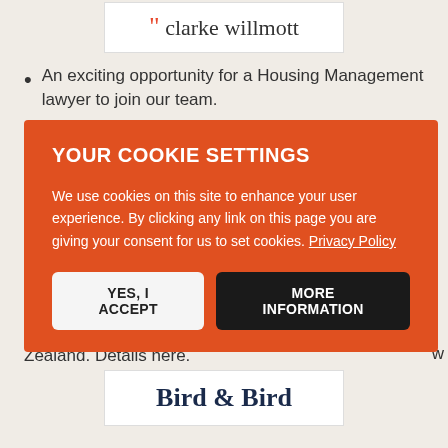[Figure (logo): Clarke Willmott law firm logo with orange quotation marks]
An exciting opportunity for a Housing Management lawyer to join our team.
[Figure (logo): MinterEllison law firm logo]
YOUR COOKIE SETTINGS
We use cookies on this site to enhance your user experience. By clicking any link on this page you are giving your consent for us to set cookies. Privacy Policy
YES, I ACCEPT | MORE INFORMATION (buttons)
Zealand. Details here.
[Figure (logo): Bird & Bird law firm logo]
Bird & Bird is looking for an associate to join its Commercial Practice Group. Details here.